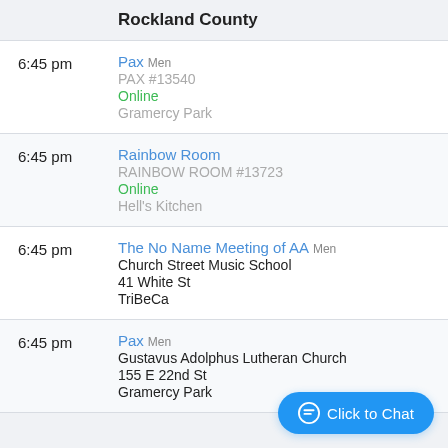Rockland County
6:45 pm | Pax Men | PAX #13540 | Online | Gramercy Park
6:45 pm | Rainbow Room | RAINBOW ROOM #13723 | Online | Hell's Kitchen
6:45 pm | The No Name Meeting of AA Men | Church Street Music School | 41 White St | TriBeCa
6:45 pm | Pax Men | Gustavus Adolphus Lutheran Church | 155 E 22nd St | Gramercy Park